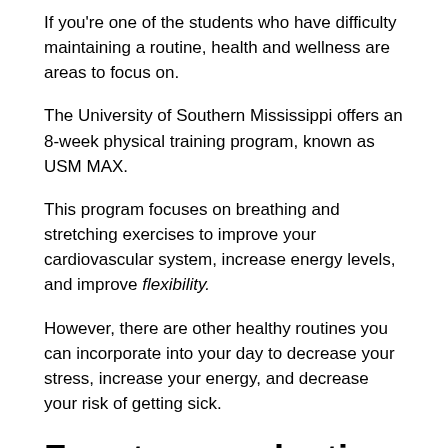If you're one of the students who have difficulty maintaining a routine, health and wellness are areas to focus on.
The University of Southern Mississippi offers an 8-week physical training program, known as USM MAX.
This program focuses on breathing and stretching exercises to improve your cardiovascular system, increase energy levels, and improve flexibility.
However, there are other healthy routines you can incorporate into your day to decrease your stress, increase your energy, and decrease your risk of getting sick.
For stress reduction, start with taking deep breaths